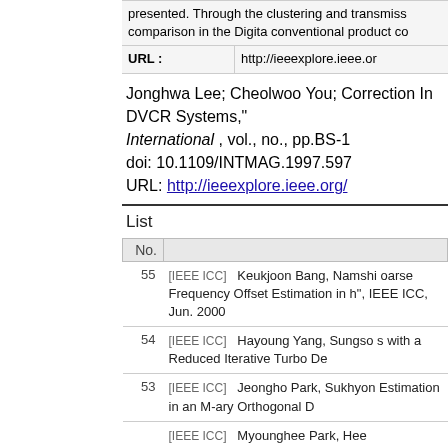|  |  |
| --- | --- |
|  | presented. Through the clustering and transmiss comparison in the Digita conventional product co |
| URL : | http://ieeexplore.ieee.or |
Jonghwa Lee; Cheolwoo You; Correction In DVCR Systems," International , vol., no., pp.BS-1 doi: 10.1109/INTMAG.1997.597 URL: http://ieeexplore.ieee.org/
List
| No. |  |
| --- | --- |
| 55 | [IEEE ICC]   Keukjoon Bang, Namshi oarse Frequency Offset Estimation in h", IEEE ICC, Jun. 2000 |
| 54 | [IEEE ICC]   Hayoung Yang, Sungso s with a Reduced Iterative Turbo De |
| 53 | [IEEE ICC]   Jeongho Park, Sukhyon Estimation in an M-ary Orthogonal D |
|  | [IEEE ICC]   Myounghee Park, Hee |